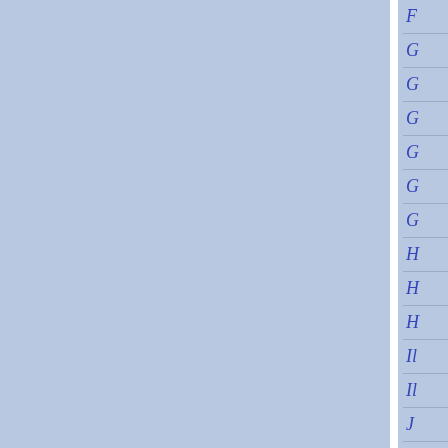[Figure (other): Two large blue-gray rectangular panels side by side with a white vertical divider between them, occupying the left ~90% of the page.]
|  |
| --- |
| F... |
| G... |
| G... |
| G... |
| G... |
| G... |
| G... |
| H... |
| H... |
| H... |
| Il... |
| Il... |
| J... |
| K... |
| K... |
| K... |